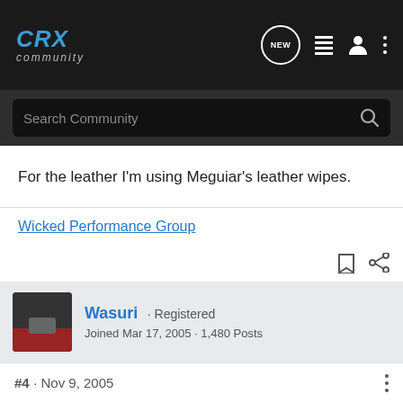CRX Community
For the leather I'm using Meguiar's leather wipes.
Wicked Performance Group
Wasuri · Registered
Joined Mar 17, 2005 · 1,480 Posts
#4 · Nov 9, 2005
Pretty cool you got it finished man. Now what about whats in that engine bay! I remember us talking about that, lets get...